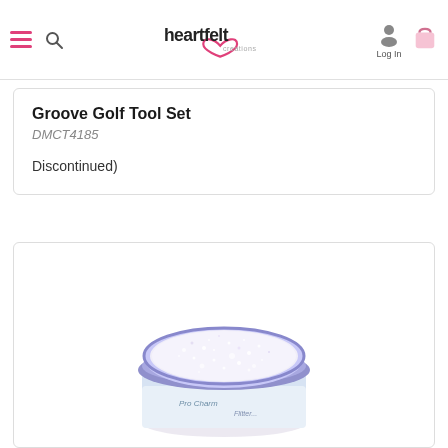heartfelt creations — Log In
Groove Golf Tool Set
DMCT4185
Discontinued)
[Figure (photo): A round open jar of white/iridescent glitter or micro-beads with a purple/lavender lid, viewed from slightly above, with a product label partially visible at the bottom.]